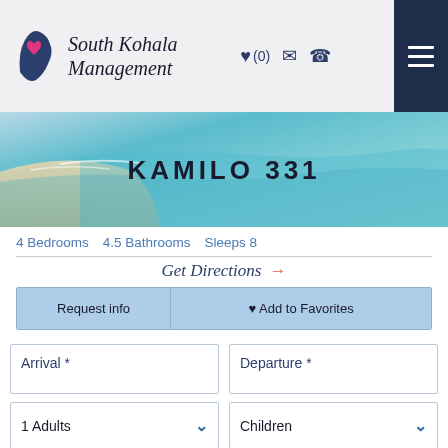[Figure (logo): South Kohala Management logo with Hawaii island silhouette and pink heart]
KAMILO 331
4 Bedrooms   4.5 Bathrooms   Sleeps 8
Get Directions →
Request info
♥ Add to Favorites
Arrival *
Departure *
1 Adults
Children
Age 18 and under.